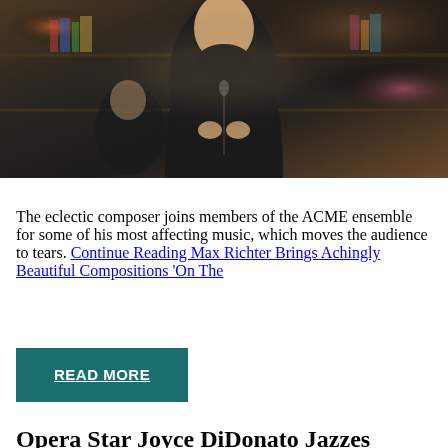[Figure (photo): A man in a black turtleneck and black jacket stands with his hands clasped, performing or speaking. Behind him is another person seated, and bookshelves with colorful toys, records, and books fill the background — a Tiny Desk Concert style setting.]
The eclectic composer joins members of the ACME ensemble for some of his most affecting music, which moves the audience to tears. Continue Reading Max Richter Brings Achingly Beautiful Compositions 'On The
READ MORE
Opera Star Joyce DiDonato Jazzes